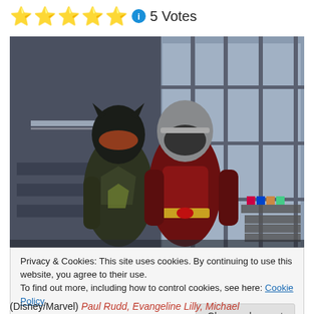⭐⭐⭐⭐⭐ ℹ️ 5 Votes
[Figure (photo): Two Marvel superheroes (Wasp and Ant-Man) in full costume standing in front of a building with glass doors and metal frames. The Wasp wears a dark green/black suit with pointed helmet, and Ant-Man wears a red and black suit with silver helmet.]
Privacy & Cookies: This site uses cookies. By continuing to use this website, you agree to their use.
To find out more, including how to control cookies, see here: Cookie Policy
Close and accept
(Disney/Marvel) Paul Rudd, Evangeline Lilly, Michael